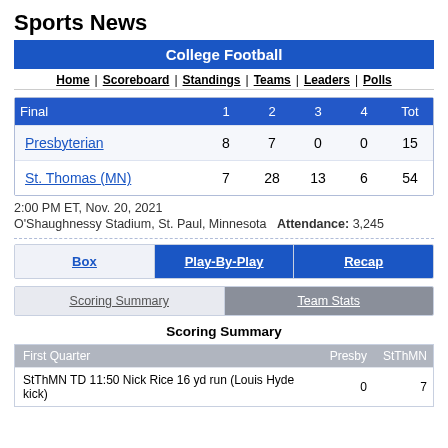Sports News
College Football
Home | Scoreboard | Standings | Teams | Leaders | Polls
| Final | 1 | 2 | 3 | 4 | Tot |
| --- | --- | --- | --- | --- | --- |
| Presbyterian | 8 | 7 | 0 | 0 | 15 |
| St. Thomas (MN) | 7 | 28 | 13 | 6 | 54 |
2:00 PM ET, Nov. 20, 2021
O'Shaughnessy Stadium, St. Paul, Minnesota  Attendance: 3,245
Box | Play-By-Play | Recap
Scoring Summary | Team Stats
Scoring Summary
| First Quarter |  | Presby | StThMN |
| --- | --- | --- | --- |
| StThMN TD 11:50 Nick Rice 16 yd run (Louis Hyde kick) |  | 0 | 7 |